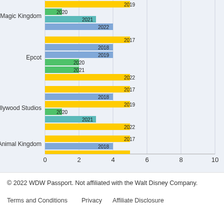[Figure (grouped-bar-chart): Disney World Park Attendance by Year]
© 2022 WDW Passport. Not affiliated with the Walt Disney Company.
Terms and Conditions    Privacy    Affiliate Disclosure